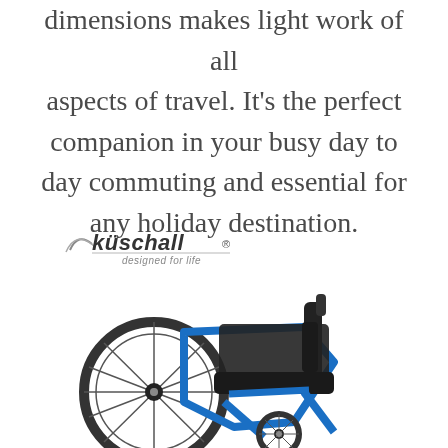dimensions makes light work of all aspects of travel. It's the perfect companion in your busy day to day commuting and essential for any holiday destination.
[Figure (logo): Küschall logo with tagline 'designed for life']
[Figure (photo): A blue-framed manual wheelchair with black seat and backrest, large spoked rear wheels, viewed from a front-right angle on a white background.]